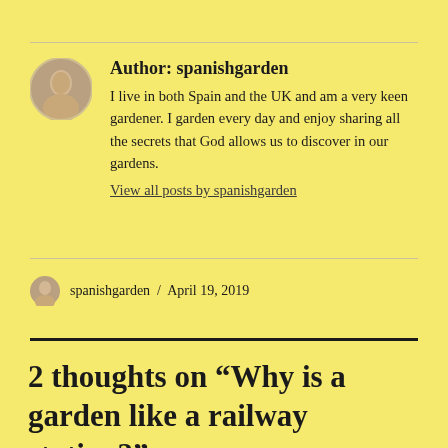Author: spanishgarden
I live in both Spain and the UK and am a very keen gardener. I garden every day and enjoy sharing all the secrets that God allows us to discover in our gardens.
View all posts by spanishgarden
spanishgarden / April 19, 2019
2 thoughts on “Why is a garden like a railway station?”